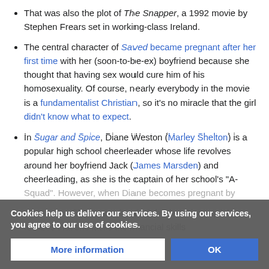That was also the plot of The Snapper, a 1992 movie by Stephen Frears set in working-class Ireland.
The central character of Saved became pregnant after her first time with her (soon-to-be-ex) boyfriend because she thought that having sex would cure him of his homosexuality. Of course, nearly everybody in the movie is a fundamentalist Christian, so it's no miracle that the girl didn't know what to expect.
In Sugar and Spice, Diane Weston (Marley Shelton) is a popular high school cheerleader whose life revolves around her boyfriend Jack (James Marsden) and cheerleading, as she is the captain of her school's "A-Squad". However, when Diane becomes pregnant by ... disown her. She moves in with ... jobs, but Diane quickly realizes that she lacks the financial skills
Cookies help us deliver our services. By using our services, you agree to our use of cookies.